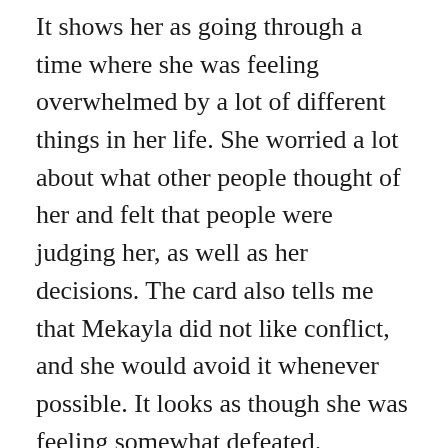It shows her as going through a time where she was feeling overwhelmed by a lot of different things in her life. She worried a lot about what other people thought of her and felt that people were judging her, as well as her decisions. The card also tells me that Mekayla did not like conflict, and she would avoid it whenever possible. It looks as though she was feeling somewhat defeated.
The Death card came up in the reversed position. In this case, it does not seem to represent actual death. Typically the Death card does not refer to a person's death, but in some instances – when combined with cards pointing in that direction – it does. Instead, its